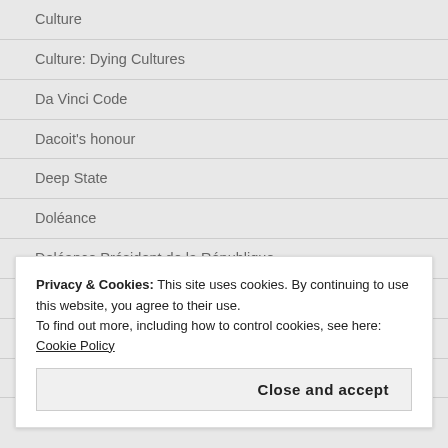Culture
Culture: Dying Cultures
Da Vinci Code
Dacoit's honour
Deep State
Doléance
Doléance Président de la République
Donald Trump
EBOLA
EITs
Privacy & Cookies: This site uses cookies. By continuing to use this website, you agree to their use.
To find out more, including how to control cookies, see here: Cookie Policy
Close and accept